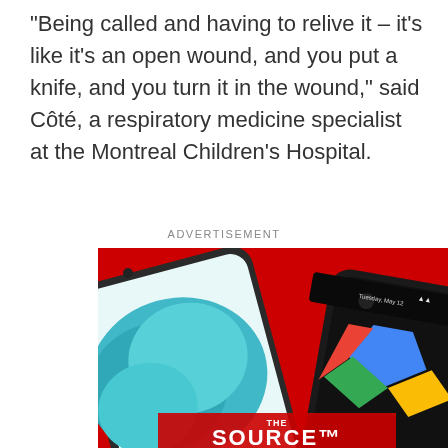"Being called and having to relive it – it's like it's an open wound, and you put a knife, and you turn it in the wound," said Côté, a respiratory medicine specialist at the Montreal Children's Hospital.
ADVERTISEMENT
[Figure (photo): Advertisement for The Source showing two smartphones (Samsung Galaxy and Google Pixel) against a red background with 'THE SOURCE' logo at the bottom.]